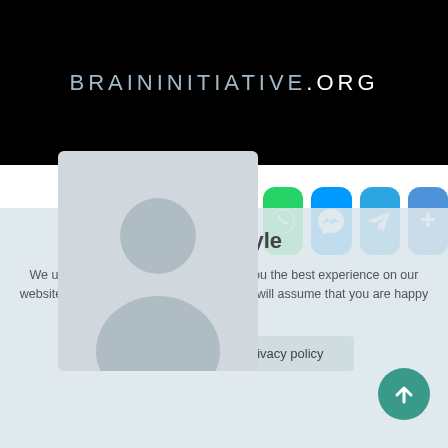[Figure (screenshot): Black banner with BRAININITIATIVE.ORG website header text in light blue and white lettering]
[Figure (infographic): Row of social media share buttons: Facebook, Pinterest, Reddit, LinkedIn, WhatsApp, Messenger, Telegram, More]
[Figure (screenshot): Cookie consent overlay with author avatar (Ruth Doyle), cookie notice text, Accept and Privacy policy buttons, and a teal scroll-to-top arrow button]